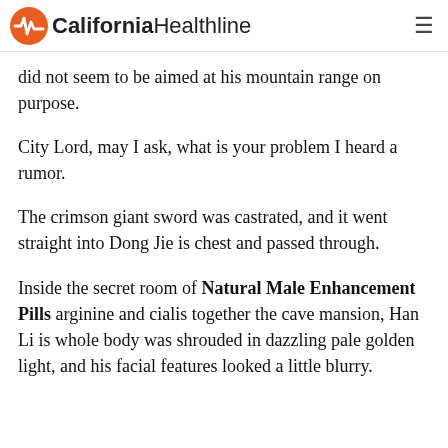California Healthline
did not seem to be aimed at his mountain range on purpose.
City Lord, may I ask, what is your problem I heard a rumor.
The crimson giant sword was castrated, and it went straight into Dong Jie is chest and passed through.
Inside the secret room of Natural Male Enhancement Pills arginine and cialis together the cave mansion, Han Li is whole body was shrouded in dazzling pale golden light, and his facial features looked a little blurry.